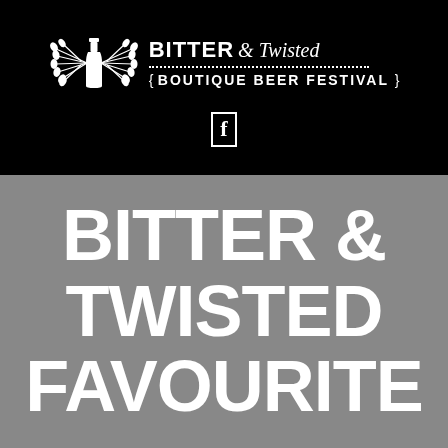[Figure (logo): Bitter & Twisted Boutique Beer Festival logo — a bottle with wheat/grain wings on either side, text 'BITTER & Twisted' with a dotted rule and '{ BOUTIQUE BEER FESTIVAL }' below, on a black banner. A small Facebook icon below the logo.]
BITTER & TWISTED FAVOURITE